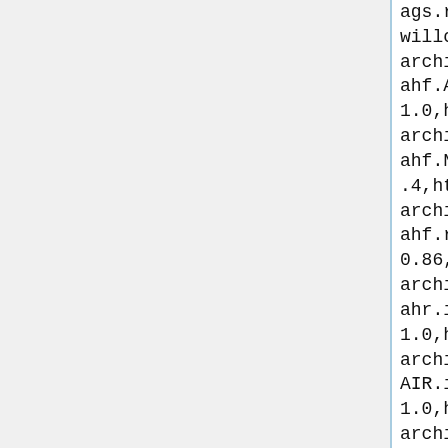ags.rougedc.RougeDC willow,http://robocode-archive.strangeautomata.com/rob ahf.Acero 1.0,http://robocode-archive.strangeautomata.com/rob ahf.NanoAndrew .4,http://robocode-archive.strangeautomata.com/rob ahf.r2d2.R2d2 0.86,http://robocode-archive.strangeautomata.com/rob ahr.ice.Ice 1.0,http://robocode-archive.strangeautomata.com/rob AIR.iRobot 1.0,http://robocode-archive.strangeautomata.com/rob ak.Fermat 2.0,http://robocode-archive.strangeautomata.com/rob alex.Diabolo5 1.1,http://robocode-archive.strangeautomata.com/rob alk.lan.LoudAndProud